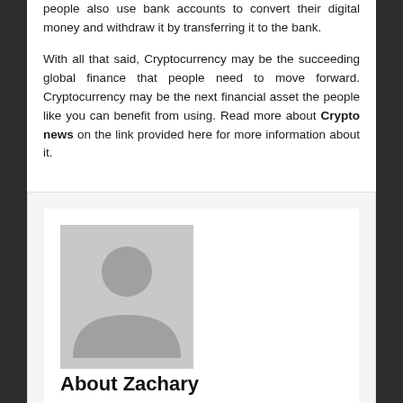people also use bank accounts to convert their digital money and withdraw it by transferring it to the bank.

With all that said, Cryptocurrency may be the succeeding global finance that people need to move forward. Cryptocurrency may be the next financial asset the people like you can benefit from using. Read more about Crypto news on the link provided here for more information about it.
[Figure (illustration): Generic grey avatar/profile placeholder image showing a silhouette of a person]
About Zachary
TRENDING NEWS